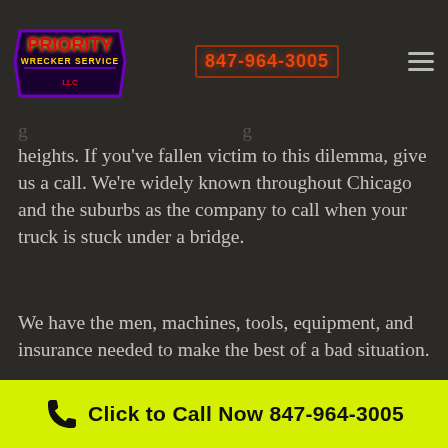Priority Wrecker Service — 847-964-3005
heights. If you've fallen victim to this dilemma, give us a call. We're widely known throughout Chicago and the suburbs as the company to call when your truck is stuck under a bridge.
We have the men, machines, tools, equipment, and insurance needed to make the best of a bad situation.
Click to Call Now 847-964-3005